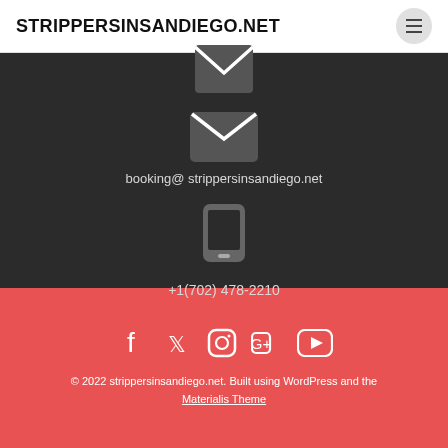STRIPPERSINSANDIEGO.NET
booking@ strippersinsandiego.net
+1(702) 478-2210
© 2022 strippersinsandiego.net. Built using WordPress and the Materialis Theme